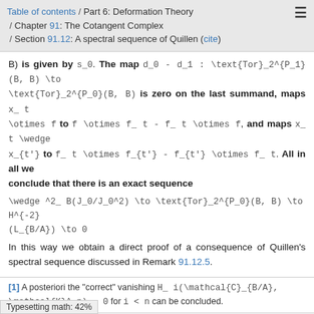Table of contents / Part 6: Deformation Theory / Chapter 91: The Cotangent Complex / Section 91.12: A spectral sequence of Quillen (cite)
B) is given by s_0. The map d_0 - d_1 : \text{Tor}_2^{P_1}(B, B) \to \text{Tor}_2^{P_0}(B, B) is zero on the last summand, maps x_t \otimes f to f \otimes f_t - f_t \otimes f, and maps x_t \wedge x_{t'} to f_t \otimes f_{t'} - f_{t'} \otimes f_t. All in all we conclude that there is an exact sequence
In this way we obtain a direct proof of a consequence of Quillen's spectral sequence discussed in Remark 91.12.5.
[1] A posteriori the "correct" vanishing H_i(\mathcal{C}_{B/A}, \mathcal{K}^n) = 0 for i < n can be concluded.
Comments (0)
Post a comment
Typesetting math: 42%